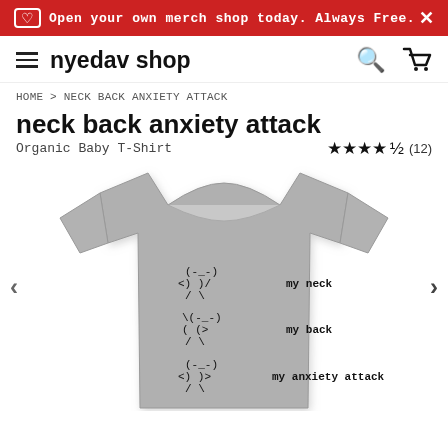Open your own merch shop today. Always Free.
nyedav shop
HOME > NECK BACK ANXIETY ATTACK
neck back anxiety attack
Organic Baby T-Shirt
★★★★½ (12)
[Figure (photo): Gray organic baby T-shirt with ASCII art figures labeled 'my neck', 'my back', and 'my anxiety attack']